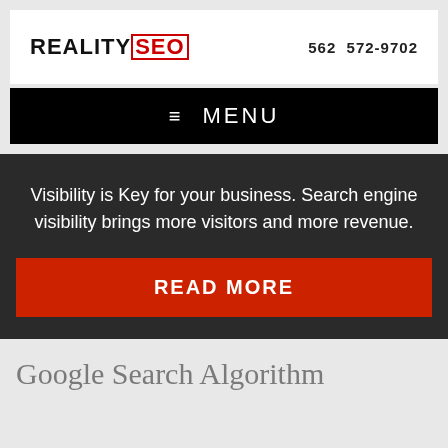[Figure (logo): Reality SEO logo with red SEO text and phone number 562 572-9702]
≡ MENU
Visibility is Key for your business. Search engine visibility brings more visitors and more revenue.
READ MORE
Google Search Algorithm